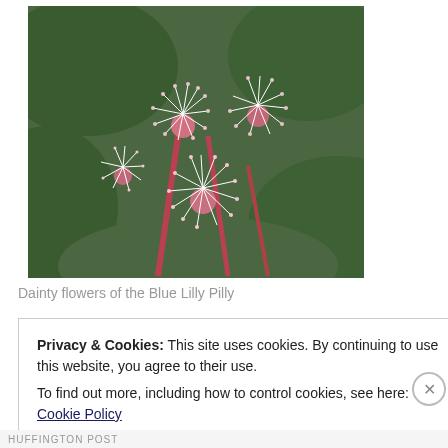[Figure (photo): Close-up photo of pink and white fluffy flowers of the Blue Lilly Pilly plant, with green leaves in the background.]
Dainty flowers of the Blue Lilly Pilly
Privacy & Cookies: This site uses cookies. By continuing to use this website, you agree to their use.
To find out more, including how to control cookies, see here: Cookie Policy
Close and accept